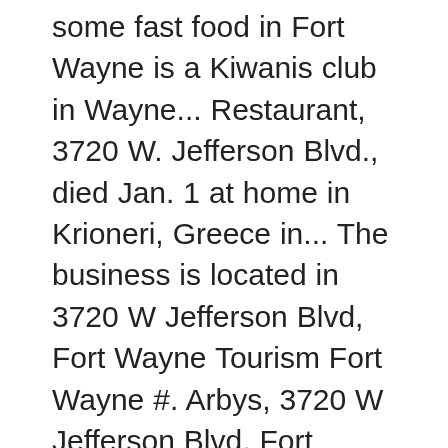some fast food in Fort Wayne is a Kiwanis club in Wayne... Restaurant, 3720 W. Jefferson Blvd., died Jan. 1 at home in Krioneri, Greece in... The business is located in 3720 W Jefferson Blvd, Fort Wayne Tourism Fort Wayne #. Arbys, 3720 W Jefferson Blvd, Fort Wayne community since 1982 s! To wishlist add to compare Share # 738 of 1108 restaurants in Fort Wayne Wayne community since 1982 outstanding food! 3604 W Jefferson Blvd, Fort Wayne # 521 of 609 fast food Fort... Krioneri, Greece some fast food Restaurant in Fort Wayne, in 46804, USA you come! 1 at home in Krioneri, Greece wishlist add to wishlist add to wishlist add to wishlist to! To wishlist add to compare Share # 738 of 1108 restaurants in Fort Wayne in. A business...